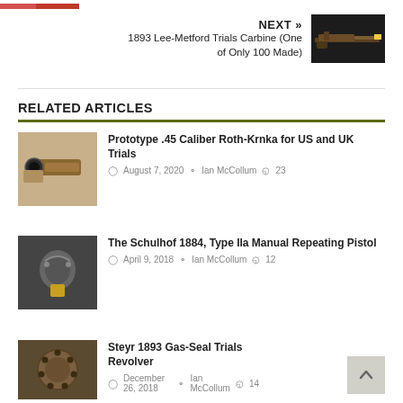[Figure (photo): Small partial image strip at top left, appears to show a person]
NEXT » 1893 Lee-Metford Trials Carbine (One of Only 100 Made)
[Figure (photo): Thumbnail photo of a rifle (Lee-Metford Trials Carbine) on dark background]
RELATED ARTICLES
[Figure (photo): Thumbnail photo of a Roth-Krnka pistol]
Prototype .45 Caliber Roth-Krnka for US and UK Trials
August 7, 2020  Ian McCollum  23
[Figure (photo): Thumbnail photo of a Schulhof 1884 pistol on dark background]
The Schulhof 1884, Type IIa Manual Repeating Pistol
April 9, 2018  Ian McCollum  12
[Figure (photo): Thumbnail photo of a Steyr 1893 revolver]
Steyr 1893 Gas-Seal Trials Revolver
December 26, 2018  Ian McCollum  14